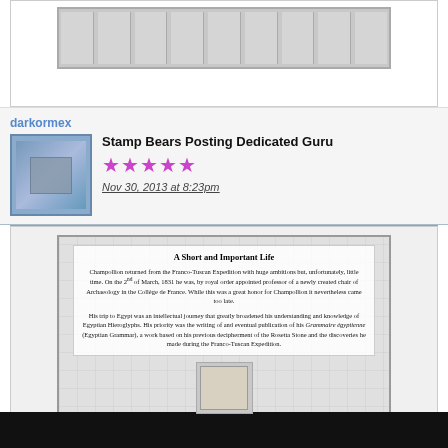[Figure (screenshot): Top portion of a previous forum post showing a stamp collection image with a row of stamps at the bottom]
darkormex
Stamp Bears Posting Dedicated Guru
[Figure (photo): Small avatar image showing a blue stamp]
★★★★★ (5 stars, purple)
Nov 30, 2013 at 8:23pm
[Figure (screenshot): Forum post content showing a document page titled 'A Short and Important Life' about Champollion, with text about his return from the Franco-Tuscan Expedition and his work on Egyptian hieroglyphs]